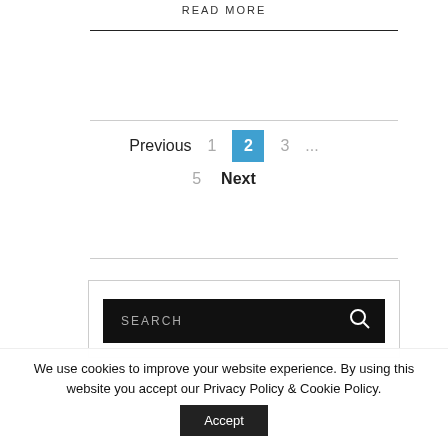READ MORE
Previous  1  2  3  ...  5  Next
[Figure (screenshot): Search input box with dark background, 'SEARCH' label text and magnifying glass icon]
We use cookies to improve your website experience. By using this website you accept our Privacy Policy & Cookie Policy.
Accept